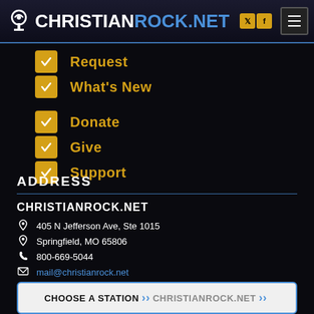CHRISTIANROCK.NET
Request
What's New
Donate
Give
Support
ADDRESS
CHRISTIANROCK.NET
405 N Jefferson Ave, Ste 1015
Springfield, MO 65806
800-669-5044
mail@christianrock.net
Choose A Station >> ChristianRock.Net >>